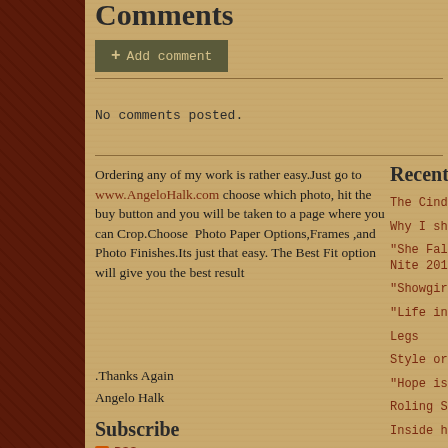Comments
Add comment
No comments posted.
Ordering any of my work is rather easy.Just go to www.AngeloHalk.com choose which photo, hit the buy button and you will be taken to a page where you can Crop.Choose Photo Paper Options,Frames ,and Photo Finishes.Its just that easy. The Best Fit option will give you the best result
.Thanks Again
Angelo Halk
Subscribe
RSS
Recent Posts
The Cinderella Girl
Why I shoot
"She Falls From The Nite 2014 Tampa
"Showgirl"
"Life in Shambles'
Legs
Style or No Style
"Hope is Elegant'
Roling Smoke
Inside her Mind